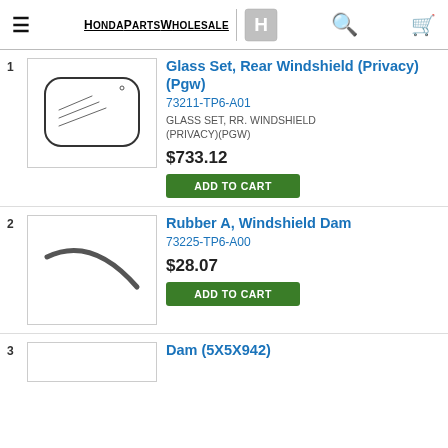HondaPartsWholesale
[Figure (illustration): Line drawing of rear windshield glass, rounded rectangle shape with curved reflection lines]
Glass Set, Rear Windshield (Privacy) (Pgw)
73211-TP6-A01
GLASS SET, RR. WINDSHIELD (PRIVACY)(PGW)
$733.12
ADD TO CART
[Figure (illustration): Line drawing of a curved rubber windshield dam strip]
Rubber A, Windshield Dam
73225-TP6-A00
$28.07
ADD TO CART
Dam (5X5X942)